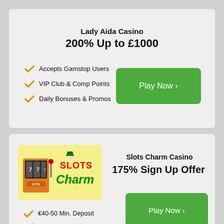Lady Aida Casino
200% Up to £1000
Accepts Gamstop Users
VIP Club & Comp Points
Daily Bonuses & Promos
Play Now ›
[Figure (logo): Slots Charm Casino logo on yellow background]
Slots Charm Casino
175% Sign Up Offer
€40-50 Min. Deposit
The Best Collection of Slots
No GamStop Coverage
Play Now ›